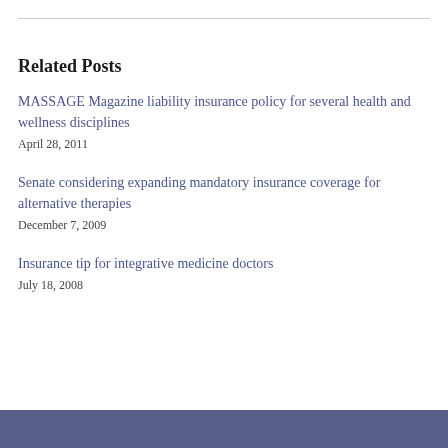Related Posts
MASSAGE Magazine liability insurance policy for several health and wellness disciplines
April 28, 2011
Senate considering expanding mandatory insurance coverage for alternative therapies
December 7, 2009
Insurance tip for integrative medicine doctors
July 18, 2008